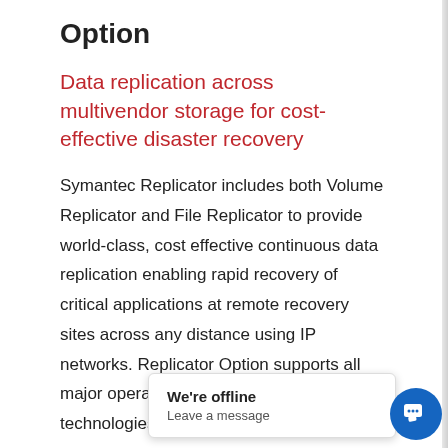Option
Data replication across multivendor storage for cost-effective disaster recovery
Symantec Replicator includes both Volume Replicator and File Replicator to provide world-class, cost effective continuous data replication enabling rapid recovery of critical applications at remote recovery sites across any distance using IP networks. Replicator Option supports all major operating systems and storage technologies extremely fle... al